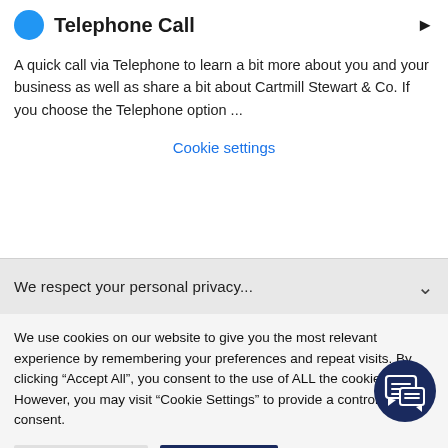Telephone Call
A quick call via Telephone to learn a bit more about you and your business as well as share a bit about Cartmill Stewart & Co. If you choose the Telephone option ...
Cookie settings
We respect your personal privacy...
We use cookies on our website to give you the most relevant experience by remembering your preferences and repeat visits. By clicking "Accept All", you consent to the use of ALL the cookies. However, you may visit "Cookie Settings" to provide a controlled consent.
Cookie Settings
Accept All